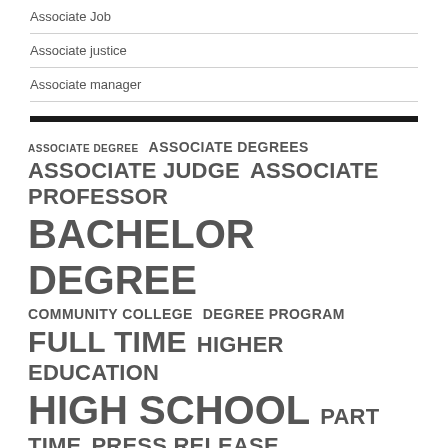Associate Job
Associate justice
Associate manager
[Figure (infographic): Tag cloud / word cloud showing education-related terms in varying font sizes indicating frequency/importance. Terms include: ASSOCIATE DEGREE, ASSOCIATE DEGREES, ASSOCIATE JUDGE, ASSOCIATE PROFESSOR, BACHELOR DEGREE, COMMUNITY COLLEGE, DEGREE PROGRAM, FULL TIME, HIGHER EDUCATION, HIGH SCHOOL, PART TIME, PRESS RELEASE, STATE UNIVERSITY, SUPREME COURT, UNITED STATES, YEARS EXPERIENCE]